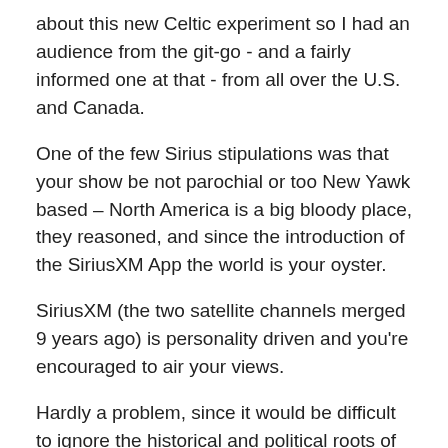about this new Celtic experiment so I had an audience from the git-go - and a fairly informed one at that - from all over the U.S. and Canada.
One of the few Sirius stipulations was that your show be not parochial or too New Yawk based – North America is a big bloody place, they reasoned, and since the introduction of the SiriusXM App the world is your oyster.
SiriusXM (the two satellite channels merged 9 years ago) is personality driven and you're encouraged to air your views.
Hardly a problem, since it would be difficult to ignore the historical and political roots of Celtic music.
Besides, there's a great hunger for heritage and a visceral need to connect with the past – something I